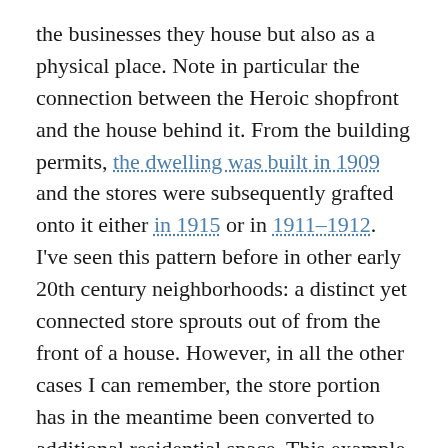the businesses they house but also as a physical place. Note in particular the connection between the Heroic shopfront and the house behind it. From the building permits, the dwelling was built in 1909 and the stores were subsequently grafted onto it either in 1915 or in 1911–1912. I've seen this pattern before in other early 20th century neighborhoods: a distinct yet connected store sprouts out of from the front of a house. However, in all the other cases I can remember, the store portion has in the meantime been converted to additional residential space. This example on Minnehaha Avenue is noteworthy for remaining in retail use.
Innovative structures continue to the present. A few blocks further east on 35th Street East, on the northwest corner with 33rd Avenue South, I came